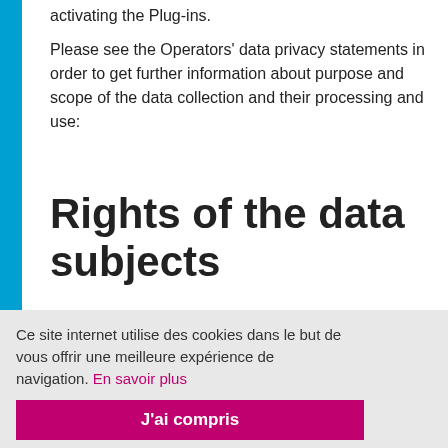activating the Plug-ins.
Please see the Operators' data privacy statements in order to get further information about purpose and scope of the data collection and their processing and use:
Rights of the data subjects
Ce site internet utilise des cookies dans le but de vous offrir une meilleure expérience de navigation. En savoir plus
J'ai compris
confirmation from the controller as to whether